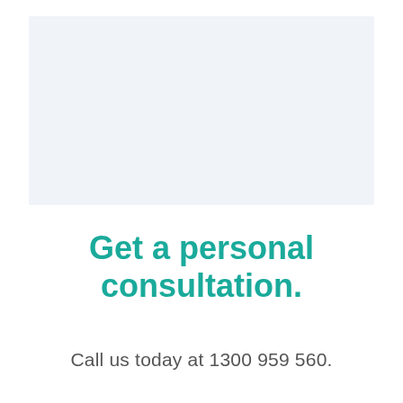[Figure (photo): Light blue/grey rectangular image placeholder area at the top of the page]
Get a personal consultation.
Call us today at 1300 959 560.